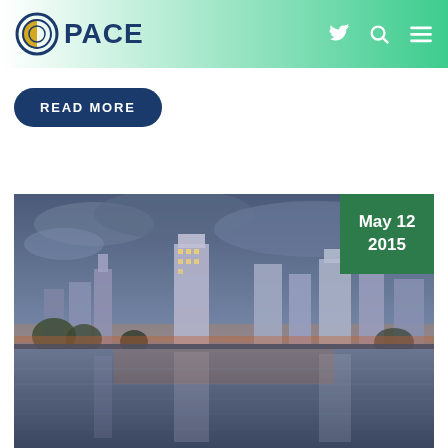PACE
READ MORE
[Figure (photo): City skyline at dusk reflected in a river, with tall buildings lit up against a cloudy sky. Date badge shows May 12 2015 in green square overlay.]
May 12 2015